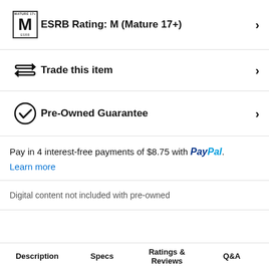ESRB Rating: M (Mature 17+)
Trade this item
Pre-Owned Guarantee
Pay in 4 interest-free payments of $8.75 with PayPal. Learn more
Digital content not included with pre-owned
Description   Specs   Ratings & Reviews   Q&A